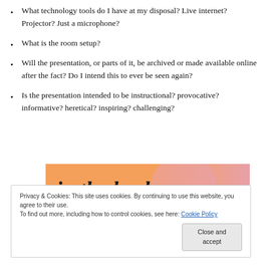What technology tools do I have at my disposal? Live internet? Projector? Just a microphone?
What is the room setup?
Will the presentation, or parts of it, be archived or made available online after the fact? Do I intend this to ever be seen again?
Is the presentation intended to be instructional? provocative? informative? heretical? inspiring? challenging?
[Figure (other): Decorative image with text 'in the back.' on an orange and pink gradient background]
Privacy & Cookies: This site uses cookies. By continuing to use this website, you agree to their use.
To find out more, including how to control cookies, see here: Cookie Policy